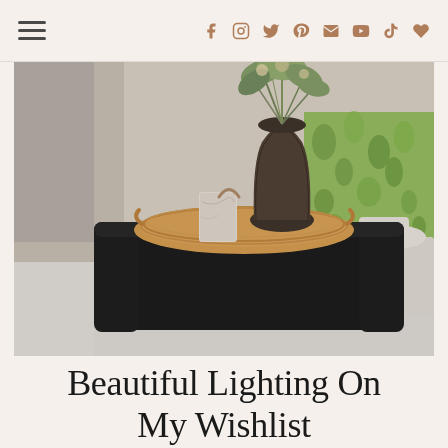Navigation header with hamburger menu and social icons (Facebook, Instagram, Twitter, Pinterest, Email, YouTube, TikTok, Favorites)
[Figure (photo): Interior design photo showing a large matte black coffee table with rounded waterfall edges, topped with a rattan/bamboo tray holding a dark ceramic vase with dried floral stems and a book. Background shows a green leafy patterned upholstered chair and stone side tables on a light rug.]
Beautiful Lighting On My Wishlist